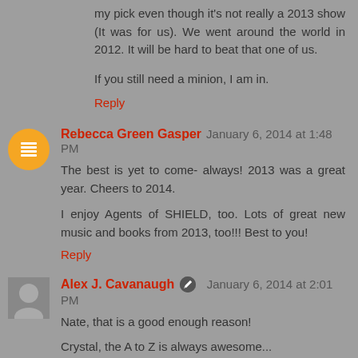my pick even though it's not really a 2013 show (It was for us). We went around the world in 2012. It will be hard to beat that one of us.
If you still need a minion, I am in.
Reply
Rebecca Green Gasper  January 6, 2014 at 1:48 PM
The best is yet to come- always! 2013 was a great year. Cheers to 2014.
I enjoy Agents of SHIELD, too. Lots of great new music and books from 2013, too!!! Best to you!
Reply
Alex J. Cavanaugh  January 6, 2014 at 2:01 PM
Nate, that is a good enough reason!
Crystal, the A to Z is always awesome...